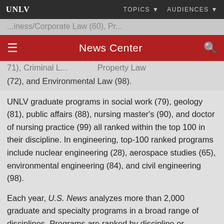UNLV | TOPICS | AUDIENCES
News Center
(72), and Environmental Law (98).
UNLV graduate programs in social work (79), geology (81), public affairs (88), nursing master's (90), and doctor of nursing practice (99) all ranked within the top 100 in their discipline. In engineering, top-100 ranked programs include nuclear engineering (28), aerospace studies (65), environmental engineering (84), and civil engineering (98).
Each year, U.S. News analyzes more than 2,000 graduate and specialty programs in a broad range of disciplines. Programs are ranked by discipline or specialty and evaluated based on